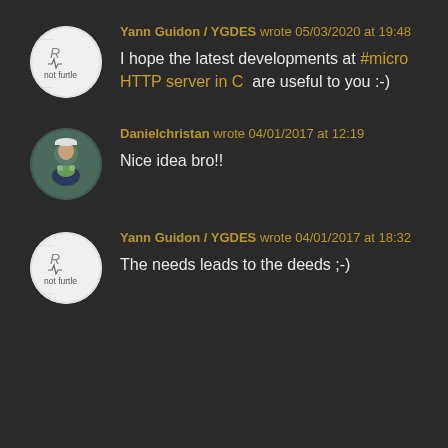[Figure (illustration): Circular avatar with white background showing 'not furtle' logo with waveform]
Yann Guidon / YGDES wrote 05/03/2020 at 19:48
I hope the latest developments at #micro HTTP server in C  are useful to you :-)
[Figure (photo): Circular avatar photo of a young person holding a frog]
Danielchristan wrote 04/01/2017 at 12:19
Nice idea bro!!
[Figure (illustration): Circular avatar with white background showing 'not furtle' logo with waveform]
Yann Guidon / YGDES wrote 04/01/2017 at 18:32
The needs leads to the deeds ;-)